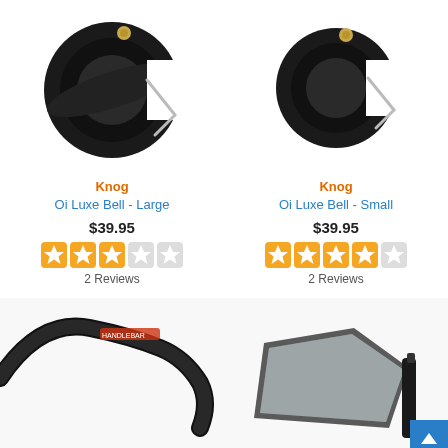[Figure (photo): Knog Oi Luxe Bell - Large, black bicycle bell with brass striker]
[Figure (photo): Knog Oi Luxe Bell - Small, black bicycle bell with brass striker]
Knog
Oi Luxe Bell - Large
$39.95
2 Reviews
Knog
Oi Luxe Bell - Small
$39.95
2 Reviews
[Figure (photo): Black drop handlebar close-up with red logo]
[Figure (photo): Bicycle rearview mirror, black frame with grey reflective surface, with blue back-to-top button overlay]